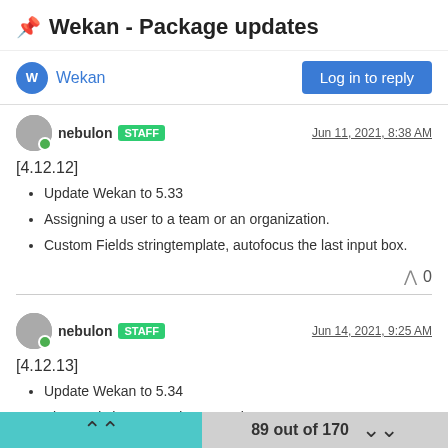📌 Wekan - Package updates
Wekan
Log in to reply
nebulon STAFF — Jun 11, 2021, 8:38 AM
[4.12.12]
Update Wekan to 5.33
Assigning a user to a team or an organization.
Custom Fields stringtemplate, autofocus the last input box.
^ 0
nebulon STAFF — Jun 14, 2021, 9:25 AM
[4.12.13]
Update Wekan to 5.34
View and change card sort number.
89 out of 170